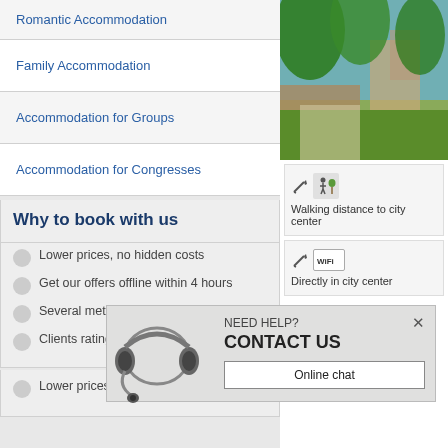Romantic Accommodation
Family Accommodation
Accommodation for Groups
Accommodation for Congresses
Why to book with us
Lower prices, no hidden costs
Get our offers offline within 4 hours
Several methods of secure payment
Clients rating provided
Lower prices, no hidden costs
[Figure (photo): Garden/courtyard with trees and greenery, outdoor area of accommodation]
Walking distance to city center
Directly in city center
NEED HELP? CONTACT US
Online chat